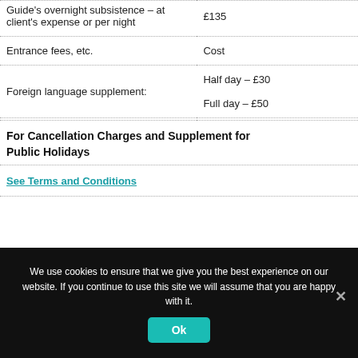| Item | Rate |
| --- | --- |
| Guide's overnight subsistence – at client's expense or per night | £135 |
| Entrance fees, etc. | Cost |
| Foreign language supplement: | Half day – £30
Full day – £50 |
For Cancellation Charges and Supplement for Public Holidays
See Terms and Conditions
We use cookies to ensure that we give you the best experience on our website. If you continue to use this site we will assume that you are happy with it.